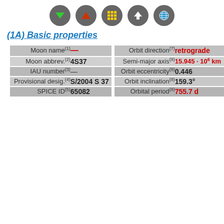[Figure (other): Navigation icon bar with 5 circular buttons: green down triangle, red up triangle, yellow grid, white up arrow, blue globe]
(1A) Basic properties
| Property | Value | Property | Value |
| --- | --- | --- | --- |
| Moon name(1) | — | Orbit direction(7) | retrograde |
| Moon abbrev.(2) | 4S37 | Semi-major axis(8) | 15.945 · 10⁶ km |
| IAU number(3) | — | Orbit eccentricity(8) | 0.446 |
| Provisional desig.(4) | S/2004 S 37 | Orbit inclination(8) | 159.3° |
| SPICE ID(5) | 65082 | Orbital period(8) | 755.7 d |